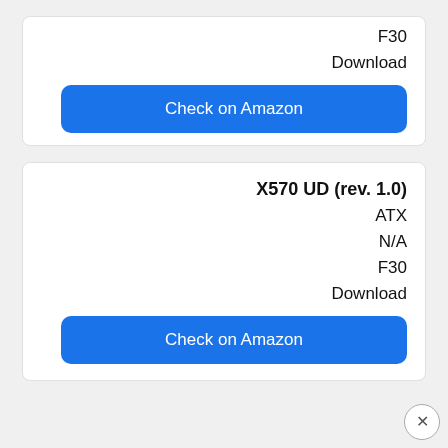F30
Download
Check on Amazon
X570 UD (rev. 1.0)
ATX
N/A
F30
Download
Check on Amazon